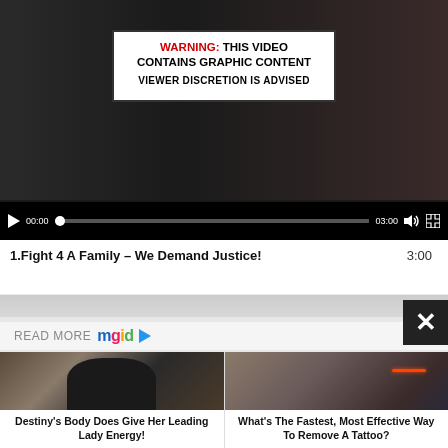[Figure (screenshot): Video player showing warning screen: 'WARNING: THIS VIDEO CONTAINS GRAPHIC CONTENT' with 'VIEWER DISCRETION IS ADVISED', video controls bar showing 00:00 / 03:00]
1.Fight 4 A Family – We Demand Justice!  3:00
[Figure (screenshot): READ MORE mgid logo with close X button and two article thumbnails]
Destiny's Body Does Give Her Leading Lady Energy!
What's The Fastest, Most Effective Way To Remove A Tattoo?